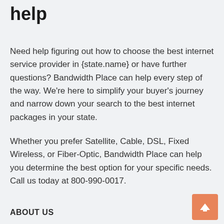help
Need help figuring out how to choose the best internet service provider in {state.name} or have further questions? Bandwidth Place can help every step of the way. We’re here to simplify your buyer’s journey and narrow down your search to the best internet packages in your state.
Whether you prefer Satellite, Cable, DSL, Fixed Wireless, or Fiber-Optic, Bandwidth Place can help you determine the best option for your specific needs. Call us today at 800-990-0017.
ABOUT US